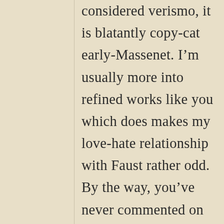considered verismo, it is blatantly copy-cat early-Massenet. I’m usually more into refined works like you which does makes my love-hate relationship with Faust rather odd. By the way, you’ve never commented on my Catalani reviews, what do you think?
★ Like